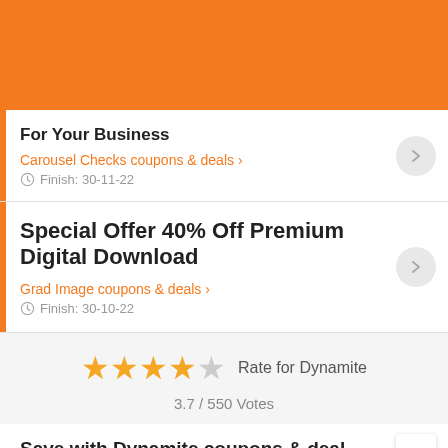[Figure (other): Orange banner/header background]
For Your Business
Carousel Checks coupons & deals >
Finish: 30-11-22
Special Offer 40% Off Premium Digital Download
Grad Image coupons & deals >
Finish: 30-10-22
Rate for Dynamite
3.7 / 550 Votes
Save with Dynamite coupons & deal
Pay attention to our site and receive exclusive offers and